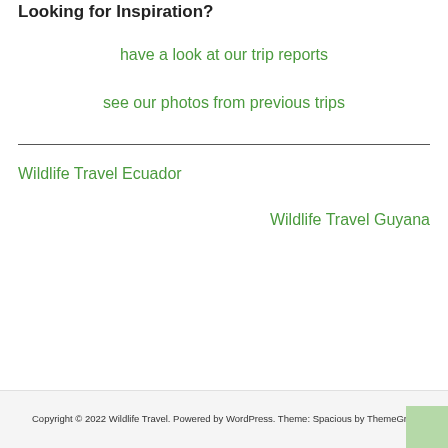Looking for Inspiration?
have a look at our trip reports
see our photos from previous trips
Wildlife Travel Ecuador
Wildlife Travel Guyana
Copyright © 2022 Wildlife Travel. Powered by WordPress. Theme: Spacious by ThemeGrill.